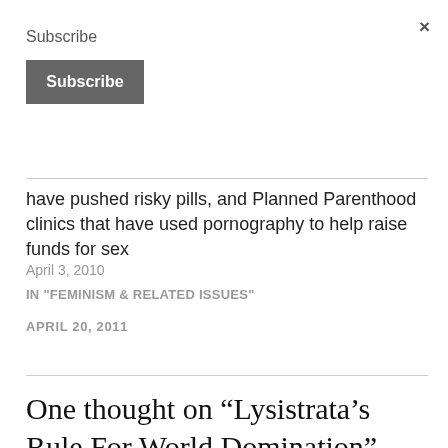×
Subscribe
Subscribe
have pushed risky pills, and Planned Parenthood clinics that have used pornography to help raise funds for sex
April 3, 2010
IN "FEMINISM & RELATED ISSUES"
APRIL 20, 2011
One thought on “Lysistrata’s Rule For World Domination”